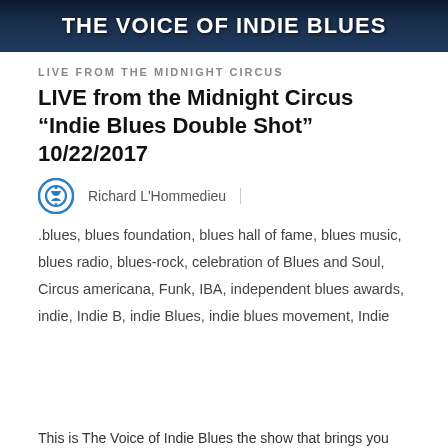[Figure (illustration): Dark blue banner image with text 'The VOICE OF INDIE BLUES' in white bold uppercase letters]
LIVE FROM THE MIDNIGHT CIRCUS
LIVE from the Midnight Circus “Indie Blues Double Shot” 10/22/2017
Richard L'Hommedieu
.blues, blues foundation, blues hall of fame, blues music, blues radio, blues-rock, celebration of Blues and Soul, Circus americana, Funk, IBA, independent blues awards, indie, Indie B, indie Blues, indie blues movement, Indie
Privacy & Cookies: This site uses cookies. By continuing to use this website, you agree to their use.
To find out more, including how to control cookies, see here: Cookie Policy
This is The Voice of Indie Blues the show that brings you